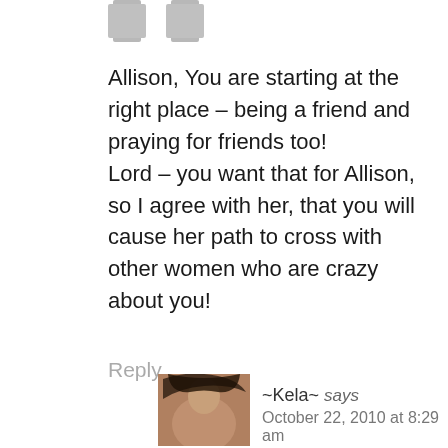[Figure (photo): Two small gray avatar silhouette icons at the top]
Allison, You are starting at the right place – being a friend and praying for friends too!
Lord – you want that for Allison, so I agree with her, that you will cause her path to cross with other women who are crazy about you!
Reply
[Figure (photo): Profile photo of a woman with dark hair]
~Kela~ says
October 22, 2010 at 8:29 am